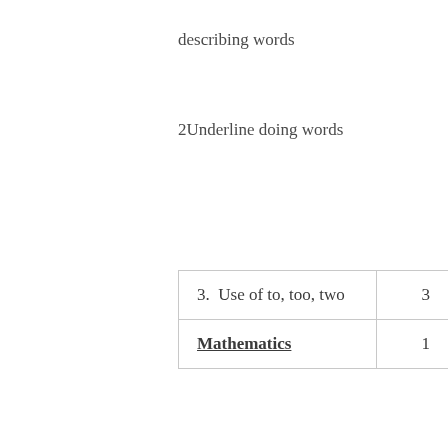describing words
2Underline doing words
| 3.  Use of to, too, two | 3 |
| Mathematics | 1 |